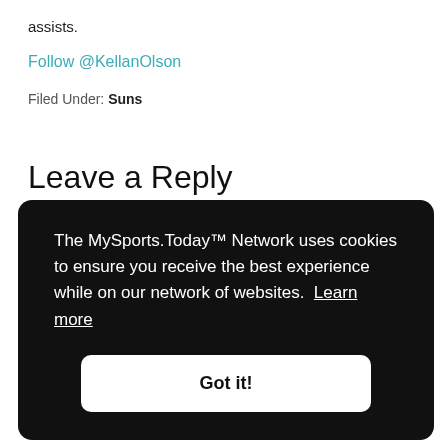assists.
Follow @KellanOlson
Filed Under: Suns
Leave a Reply
The MySports.Today™ Network uses cookies to ensure you receive the best experience while on our network of websites. Learn more
Got it!